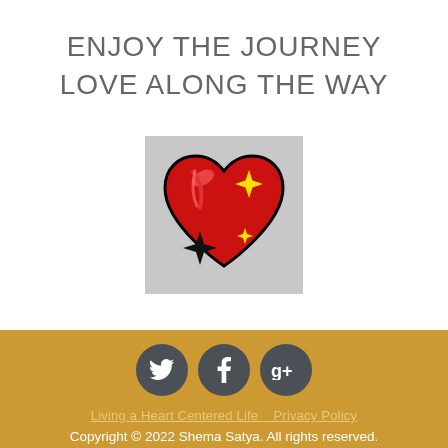ENJOY THE JOURNEY
LOVE ALONG THE WAY
[Figure (illustration): Heart emoji icon with red heart, sparkle stars (yellow and black), on a light gray background]
Living a Heart Centered Life   Privacy Policy
Copyright © 2022 Shema Satya. All rights reserved.